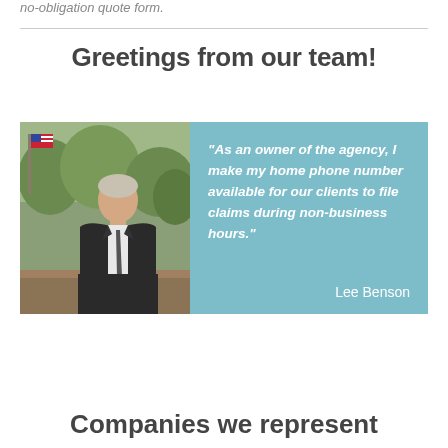no-obligation quote form.
Greetings from our team!
[Figure (photo): Photo of Lee Benson, agency owner in a suit, seated at a desk with American flag in background, alongside a teal quote box reading: 'As an owner of the agency, I make my home phone number available for our clients to file claims during non-business hours.' — Lee Benson]
Companies we represent